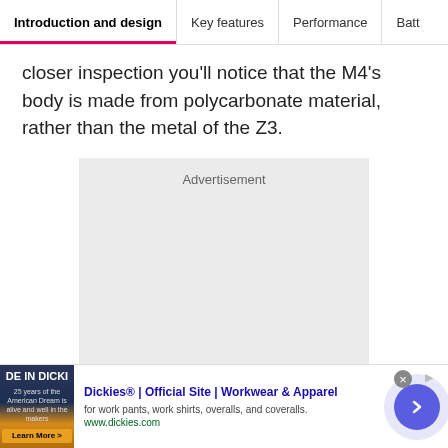Introduction and design | Key features | Performance | Batt
closer inspection you'll notice that the M4's body is made from polycarbonate material, rather than the metal of the Z3.
[Figure (other): Advertisement placeholder box with light gray background]
[Figure (other): Dickies advertisement banner at bottom: shows 'DE IN DICKI' image on left, text 'Dickies® | Official Site | Workwear & Apparel', 'for work pants, work shirts, overalls, and coveralls.', 'www.dickies.com', with a blue arrow button on right]